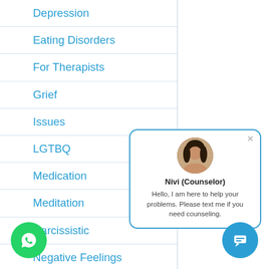Depression
Eating Disorders
For Therapists
Grief
Issues
LGTBQ
Medication
Meditation
Narcissistic
Negative Feelings
Parenting Family
[Figure (screenshot): Chat popup with counselor avatar, name 'Nivi (Counselor)' and message 'Hello, I am here to help your problems. Please text me if you need counseling.']
[Figure (logo): WhatsApp green circle button]
[Figure (screenshot): Blue chat icon button]